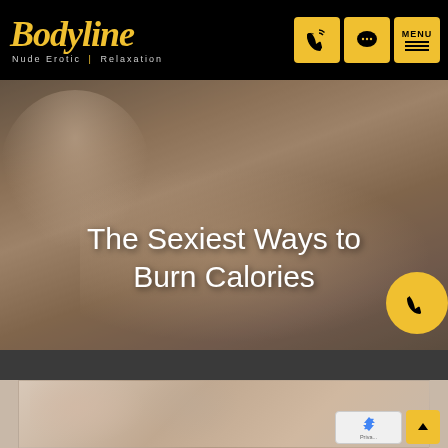Bodyline — Nude Erotic Relaxation
The Sexiest Ways to Burn Calories
[Figure (photo): Hero image: a woman giving a man a back massage, both appear relaxed with eyes closed, warm lighting]
[Figure (photo): Bottom image: a couple in an intimate close pose, both with eyes closed, soft warm background]